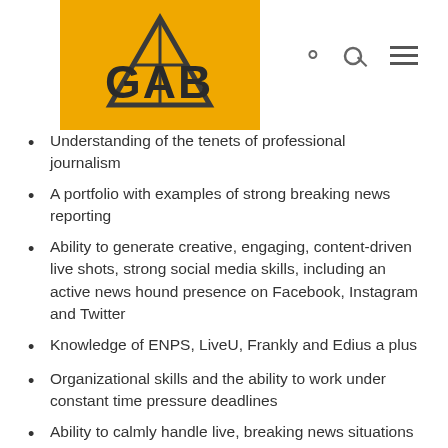[Figure (logo): GAB logo on yellow/gold background with stylized mountain/star graphic]
Understanding of the tenets of professional journalism
A portfolio with examples of strong breaking news reporting
Ability to generate creative, engaging, content-driven live shots, strong social media skills, including an active news hound presence on Facebook, Instagram and Twitter
Knowledge of ENPS, LiveU, Frankly and Edius a plus
Organizational skills and the ability to work under constant time pressure deadlines
Ability to calmly handle live, breaking news situations and changing events
Qualified applicants, please apply directly to HR Liason, Ansley Guerrero, at aguerrero@wfxg.com. Please reference News JobsWFXG in the subject line and attached your